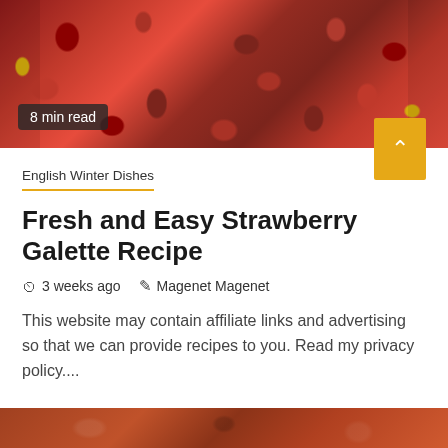[Figure (photo): Close-up photo of dried/baked strawberries in a galette, red and deep crimson tones, with golden pastry visible at edges. Badge overlay reads '8 min read'.]
8 min read
English Winter Dishes
Fresh and Easy Strawberry Galette Recipe
3 weeks ago   Magenet Magenet
This website may contain affiliate links and advertising so that we can provide recipes to you. Read my privacy policy....
[Figure (photo): Partial photo of a food dish at the bottom of the page, showing a reddish-brown stew or braised dish with sliced vegetables.]